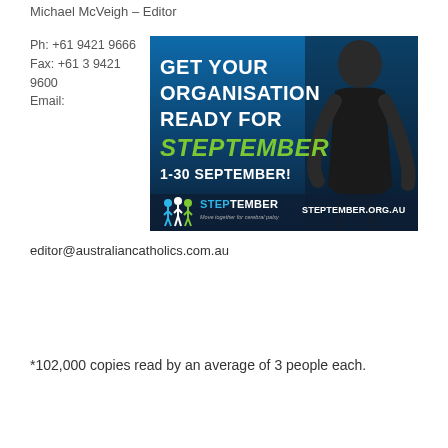Michael McVeigh – Editor
Ph: +61 9421 9666
Fax: +61 3 9421 9600
Email:
[Figure (illustration): Advertisement for Steptember fundraiser. Blue/dark background with a young man in a black outfit. Bold white text reads 'GET YOUR ORGANISATION READY FOR' and green italic text reads 'STEPTEMBER', followed by '1-30 SEPTEMBER!'. Bottom has Steptember logo and steptember.org.au]
editor@australiancatholics.com.au
*102,000 copies read by an average of 3 people each.